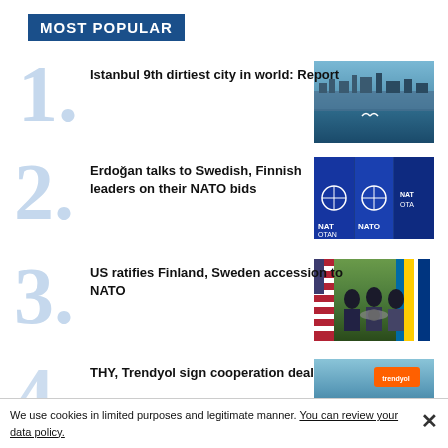MOST POPULAR
Istanbul 9th dirtiest city in world: Report
[Figure (photo): Aerial view of Istanbul cityscape with a seagull in flight over water]
Erdoğan talks to Swedish, Finnish leaders on their NATO bids
[Figure (photo): NATO flags and signage outside NATO headquarters]
US ratifies Finland, Sweden accession to NATO
[Figure (photo): US officials at a podium with Swedish and Finnish flags]
THY, Trendyol sign cooperation deal
[Figure (photo): Trendyol signage or branding with background]
We use cookies in limited purposes and legitimate manner. You can review your data policy.